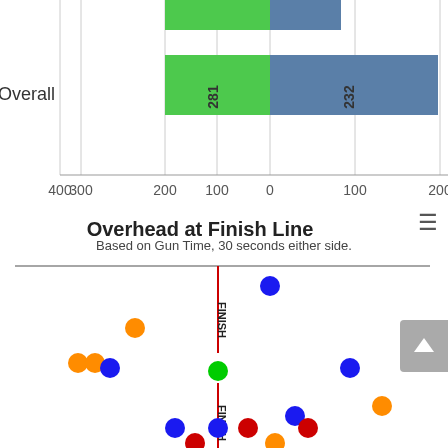[Figure (bar-chart): Overall]
Overhead at Finish Line
Based on Gun Time, 30 seconds either side.
[Figure (scatter-plot): Overhead scatter plot at finish line showing colored dots (blue, orange, red, green) distributed around a vertical red FINISH line, with two FINISH line markers.]